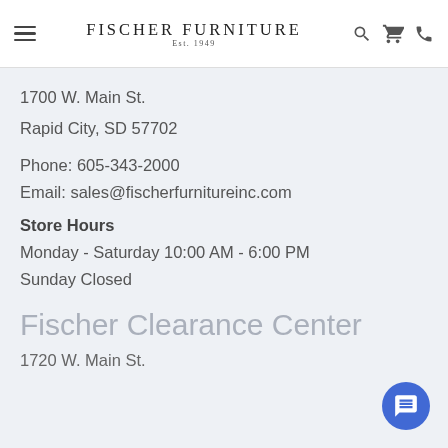Fischer Furniture Est. 1949
1700 W. Main St.
Rapid City, SD 57702
Phone: 605-343-2000
Email: sales@fischerfurnitureinc.com
Store Hours
Monday - Saturday 10:00 AM - 6:00 PM
Sunday Closed
Fischer Clearance Center
1720 W. Main St.